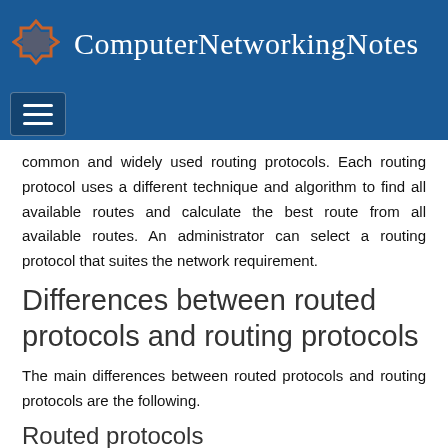ComputerNetworkingNotes
common and widely used routing protocols. Each routing protocol uses a different technique and algorithm to find all available routes and calculate the best route from all available routes. An administrator can select a routing protocol that suites the network requirement.
Differences between routed protocols and routing protocols
The main differences between routed protocols and routing protocols are the following.
Routed protocols
End devices use routed protocols to send and receive